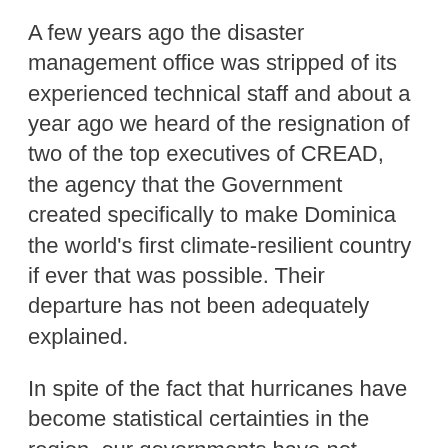A few years ago the disaster management office was stripped of its experienced technical staff and about a year ago we heard of the resignation of two of the top executives of CREAD, the agency that the Government created specifically to make Dominica the world's first climate-resilient country if ever that was possible. Their departure has not been adequately explained.
In spite of the fact that hurricanes have become statistical certainties in the region, our governments have not prepared as adequately as one would expect. For instance, adequate insurance coverage for the tourism sector, or for any sector for that matter, is still a major concern. Additionally, for decades agricultural economists have suggested various insurance schemes for agriculture, the lifeblood of our economies, but our efforts to implement